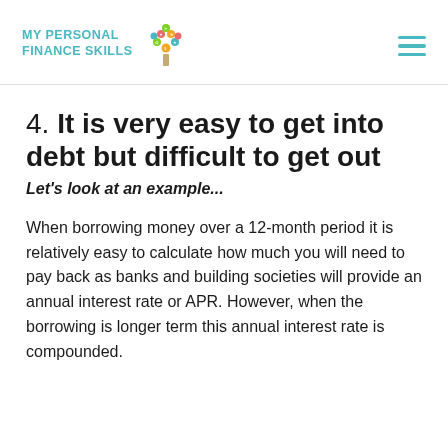MY PERSONAL FINANCE SKILLS
4. It is very easy to get into debt but difficult to get out
Let's look at an example...
When borrowing money over a 12-month period it is relatively easy to calculate how much you will need to pay back as banks and building societies will provide an annual interest rate or APR. However, when the borrowing is longer term this annual interest rate is compounded.